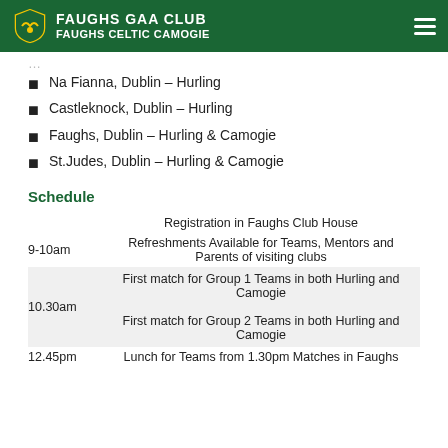FAUGHS GAA CLUB FAUGHS CELTIC CAMOGIE
Na Fianna, Dublin – Hurling
Castleknock, Dublin – Hurling
Faughs, Dublin – Hurling & Camogie
St.Judes, Dublin – Hurling & Camogie
Schedule
| Time | Description |
| --- | --- |
|  | Registration in Faughs Club House |
| 9-10am | Refreshments Available for Teams, Mentors and Parents of visiting clubs |
| 10.30am | First match for Group 1 Teams in both Hurling and Camogie
First match for Group 2 Teams in both Hurling and Camogie |
| 12.45pm | Lunch for Teams from 1.30pm Matches in Faughs |